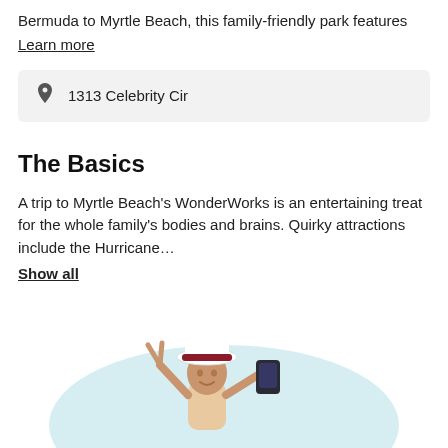Bermuda to Myrtle Beach, this family-friendly park features
Learn more
1313 Celebrity Cir
The Basics
A trip to Myrtle Beach's WonderWorks is an entertaining treat for the whole family's bodies and brains. Quirky attractions include the Hurricane…
Show all
[Figure (illustration): Illustration of a person taking a selfie with a peace sign, wearing a hat, against a light blue background]